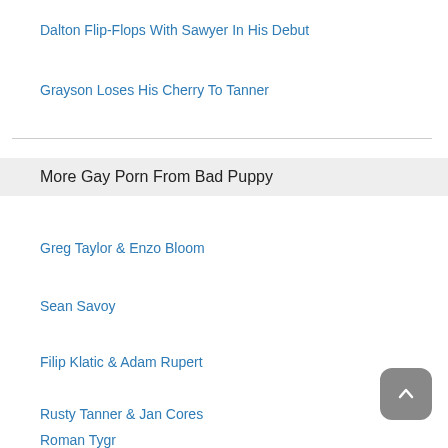Dalton Flip-Flops With Sawyer In His Debut
Grayson Loses His Cherry To Tanner
More Gay Porn From Bad Puppy
Greg Taylor & Enzo Bloom
Sean Savoy
Filip Klatic & Adam Rupert
Rusty Tanner & Jan Cores
Roman Tygr